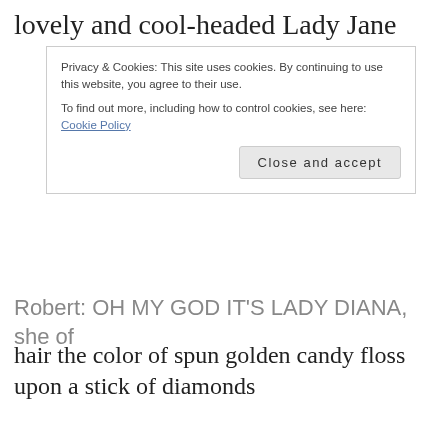lovely and cool-headed Lady Jane
Privacy & Cookies: This site uses cookies. By continuing to use this website, you agree to their use.
To find out more, including how to control cookies, see here: Cookie Policy
Close and accept
Robert: OH MY GOD IT'S LADY DIANA, she of hair the color of spun golden candy floss upon a stick of diamonds
Miranda: MY HEART, IT IS BROKEN. But damn, Trent is so cute. How did I not notice how cute he is?
Trent: Oh god I know I'm supposed to be helping you get my brother but
HIJIJIJIJINNNNNNNNNNNG damn girl